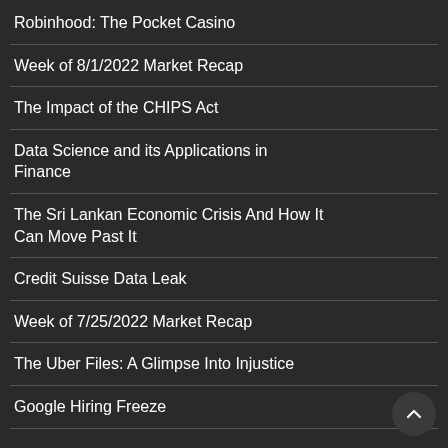Robinhood: The Pocket Casino
Week of 8/1/2022 Market Recap
The Impact of the CHIPS Act
Data Science and its Applications in Finance
The Sri Lankan Economic Crisis And How It Can Move Past It
Credit Suisse Data Leak
Week of 7/25/2022 Market Recap
The Uber Files: A Glimpse Into Injustice
Google Hiring Freeze